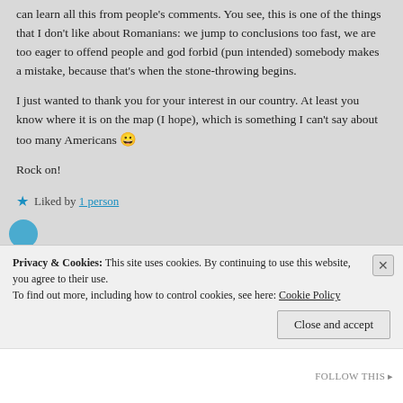can learn all this from people's comments. You see, this is one of the things that I don't like about Romanians: we jump to conclusions too fast, we are too eager to offend people and god forbid (pun intended) somebody makes a mistake, because that's when the stone-throwing begins.
I just wanted to thank you for your interest in our country. At least you know where it is on the map (I hope), which is something I can't say about too many Americans 😀
Rock on!
★ Liked by 1 person
Privacy & Cookies: This site uses cookies. By continuing to use this website, you agree to their use.
To find out more, including how to control cookies, see here: Cookie Policy
Close and accept